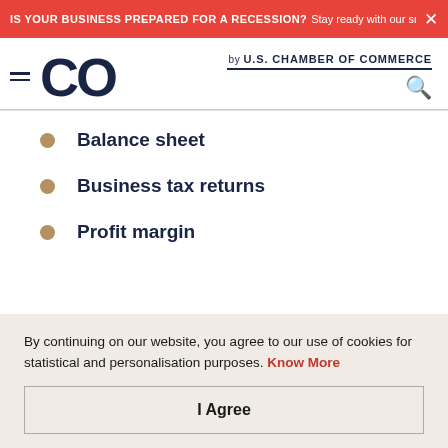IS YOUR BUSINESS PREPARED FOR A RECESSION? Stay ready with our small busin... ×
[Figure (logo): CO by U.S. Chamber of Commerce logo with hamburger menu and search icon]
Balance sheet
Business tax returns
Profit margin
By continuing on our website, you agree to our use of cookies for statistical and personalisation purposes. Know More
I Agree